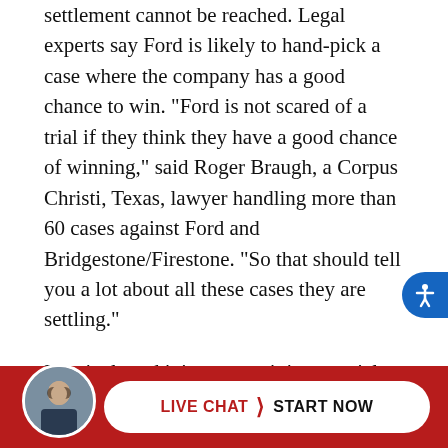settlement cannot be reached. Legal experts say Ford is likely to hand-pick a case where the company has a good chance to win. "Ford is not scared of a trial if they think they have a good chance of winning," said Roger Braugh, a Corpus Christi, Texas, lawyer handling more than 60 cases against Ford and Bridgestone/Firestone. "So that should tell you a lot about all these cases they are settling."
In spinal cord injury cases it is essential that measures be taken promptly to preserve evidence, review the medical procedures in question, and to enable physicians or other expert witnesses to thoroughly evaluate the accident record and injuries. If you or a loved one is a victim of spinal cord injury, call now at or CLICK HERE TO SUBMIT A SIMPLE CASE FORM. The initial consultation is free of charge, and if we agree to accept...
[Figure (other): Live Chat start now button with avatar at bottom of page on dark red background]